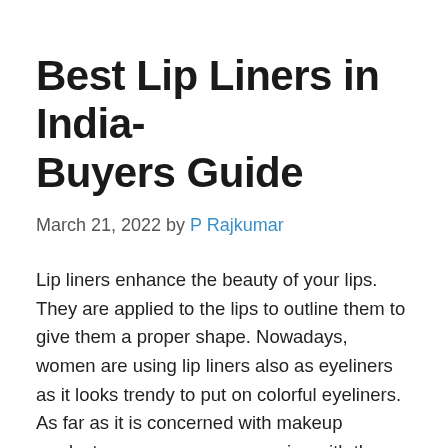Best Lip Liners in India- Buyers Guide
March 21, 2022 by P Rajkumar
Lip liners enhance the beauty of your lips. They are applied to the lips to outline them to give them a proper shape. Nowadays, women are using lip liners also as eyeliners as it looks trendy to put on colorful eyeliners. As far as it is concerned with makeup products, never ever compromise with the quality of them because they are applied directly to your skin. If you want to buy good